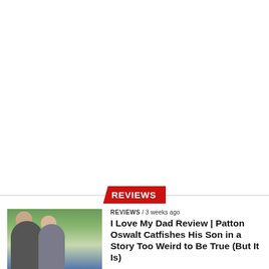[Figure (other): Large white/blank area at the top of the page, approximately two-thirds of the page height]
REVIEWS
[Figure (photo): Thumbnail photo of two men standing outdoors, one older and one younger, with trees and sky in background]
REVIEWS / 3 weeks ago
I Love My Dad Review | Patton Oswalt Catfishes His Son in a Story Too Weird to Be True (But It Is)